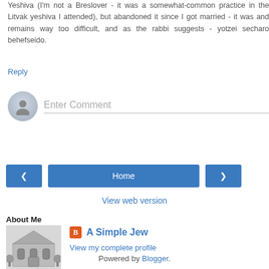Yeshiva (I'm not a Breslover - it was a somewhat-common practice in the Litvak yeshiva I attended), but abandoned it since I got married - it was and remains way too difficult, and as the rabbi suggests - yotzei secharo behefseido.
Reply
[Figure (other): Comment input area with a grey avatar icon and 'Enter Comment' placeholder text field with underline]
[Figure (other): Navigation buttons: left arrow button, Home button, right arrow button]
View web version
About Me
[Figure (illustration): Black and white sketch of a synagogue building]
A Simple Jew
View my complete profile
Powered by Blogger.